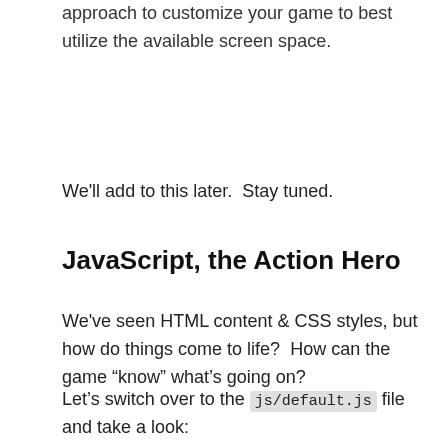approach to customize your game to best utilize the available screen space.
We'll add to this later.  Stay tuned.
JavaScript, the Action Hero
We've seen HTML content & CSS styles, but how do things come to life?  How can the game “know” what’s going on?
Let’s switch over to the js/default.js file and take a look: